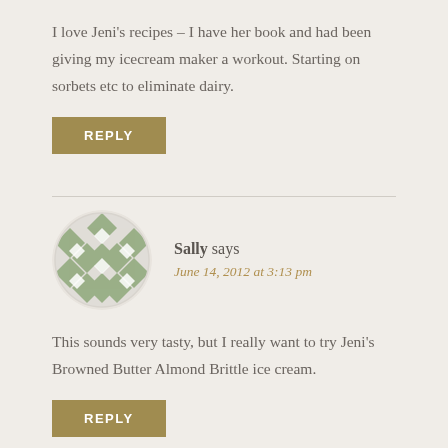I love Jeni's recipes – I have her book and had been giving my icecream maker a workout. Starting on sorbets etc to eliminate dairy.
REPLY
Sally says
June 14, 2012 at 3:13 pm
[Figure (illustration): Round circular avatar with a green and white diamond/quilt pattern design]
This sounds very tasty, but I really want to try Jeni's Browned Butter Almond Brittle ice cream.
REPLY